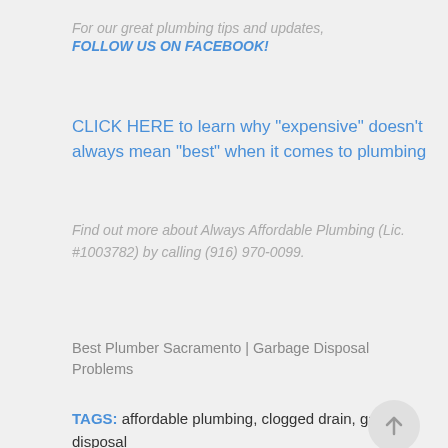For our great plumbing tips and updates,
FOLLOW US ON FACEBOOK!
CLICK HERE to learn why "expensive" doesn't always mean "best" when it comes to plumbing
Find out more about Always Affordable Plumbing (Lic. #1003782) by calling (916) 970-0099.
Best Plumber Sacramento | Garbage Disposal Problems
TAGS: affordable plumbing, clogged drain, garbage disposal